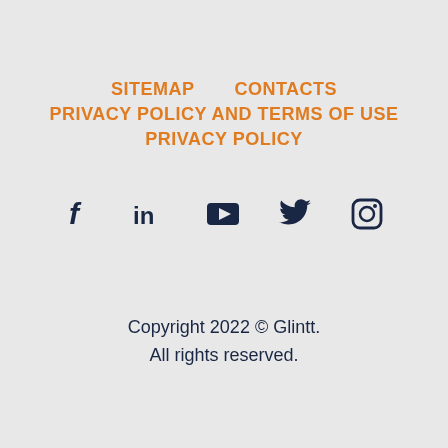SITEMAP   CONTACTS
PRIVACY POLICY AND TERMS OF USE
PRIVACY POLICY
[Figure (illustration): Row of 5 social media icons: Facebook (f), LinkedIn (in), YouTube (play button triangle), Twitter (bird), Instagram (camera)]
Copyright 2022 © Glintt.
All rights reserved.